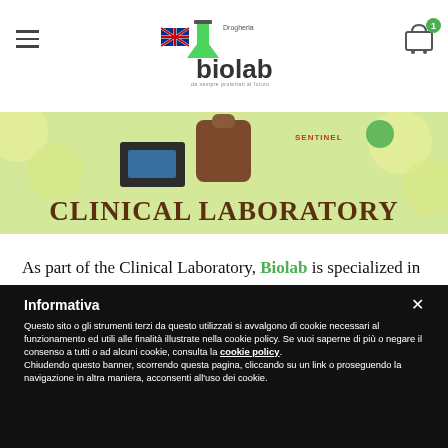Biolab – Drogheria (logo, hamburger menu, cart)
[Figure (screenshot): Clinical Laboratory promotional banner with green/yellow background, brown bag, product logos (SENTINEL), and large text 'CLINICAL LABORATORY']
As part of the Clinical Laboratory, Biolab is specialized in
Informativa

Questo sito o gli strumenti terzi da questo utilizzati si avvalgono di cookie necessari al funzionamento ed utili alle finalità illustrate nella cookie policy. Se vuoi saperne di più o negare il consenso a tutti o ad alcuni cookie, consulta la cookie policy. Chiudendo questo banner, scorrendo questa pagina, cliccando su un link o proseguendo la navigazione in altra maniera, acconsenti all'uso dei cookie.